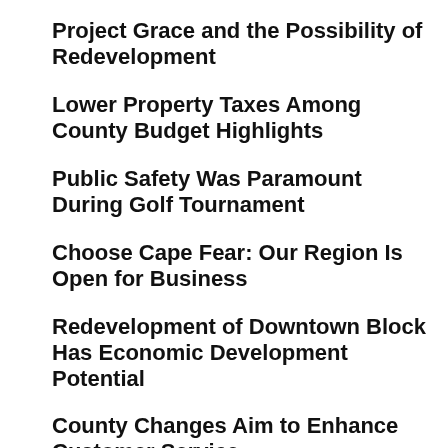Project Grace and the Possibility of Redevelopment
Lower Property Taxes Among County Budget Highlights
Public Safety Was Paramount During Golf Tournament
Choose Cape Fear: Our Region Is Open for Business
Redevelopment of Downtown Block Has Economic Development Potential
County Changes Aim to Enhance Customer Service
Your Voice Matters In County Decisions
Preparation and Partnership Are Key to